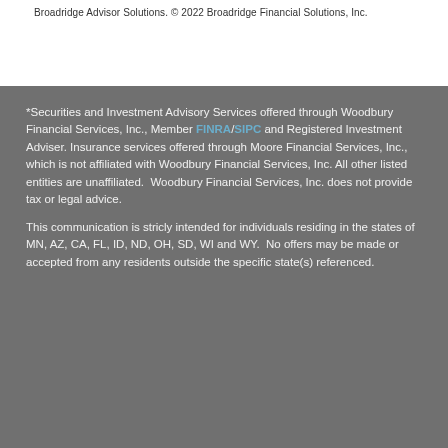Broadridge Advisor Solutions. © 2022 Broadridge Financial Solutions, Inc.
*Securities and Investment Advisory Services offered through Woodbury Financial Services, Inc., Member FINRA/SIPC and Registered Investment Adviser. Insurance services offered through Moore Financial Services, Inc., which is not affiliated with Woodbury Financial Services, Inc. All other listed entities are unaffiliated.  Woodbury Financial Services, Inc. does not provide tax or legal advice.
This communication is stricly intended for individuals residing in the states of MN, AZ, CA, FL, ID, ND, OH, SD, WI and WY.  No offers may be made or accepted from any residents outside the specific state(s) referenced.